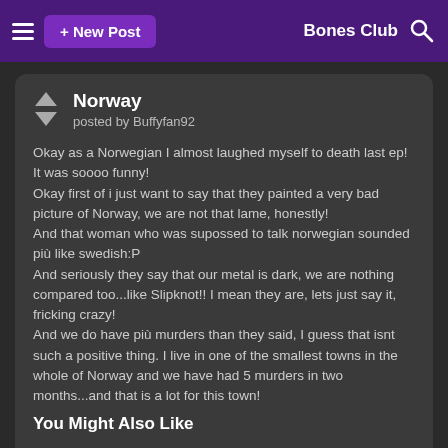☰  + New Post    Bones Club  🔍
Norway
posted by Buffyfan92
Okay as a Norwegian I almost laughed myself to death last ep! It was soooo funny!
Okay first of i just want to say that they painted a very bad picture of Norway, we are not that lame, honestly!
And that woman who was supossed to talk norwegian sounded più like swedish:P
And seriously they say that our metal is dark, we are nothing compared too...like Slipknot!! I mean they are, lets just say it, fricking crazy!
And we do have più murders than they said, I guess that isnt such a positive thing. I live in one of the smallest towns in the whole of Norway and we have had 5 murders in two months...and that is a lot for this town!
Anyways, this was really funny for me and so many other norwegian fans:D
The funniest part I think was when Bones tried to say "skalle". It was so wrong:P
You Might Also Like